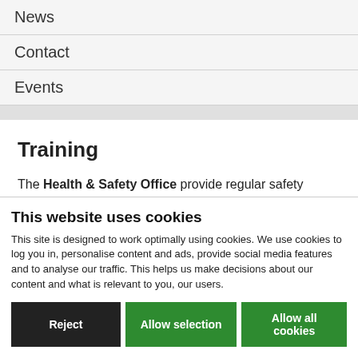News
Contact
Events
Training
The Health & Safety Office provide regular safety training courses on campus. The Health & Safety Office also run specialised safety training as required by Departments.
If you have any queries regarding training please contact Health & Safety and we will be pleased to discuss your
This website uses cookies
This site is designed to work optimally using cookies. We use cookies to log you in, personalise content and ads, provide social media features and to analyse our traffic. This helps us make decisions about our content and what is relevant to you, our users.
Reject | Allow selection | Allow all cookies